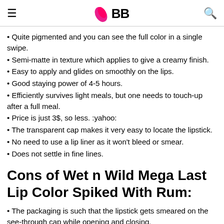IMBB
Quite pigmented and you can see the full color in a single swipe.
Semi-matte in texture which applies to give a creamy finish.
Easy to apply and glides on smoothly on the lips.
Good staying power of 4-5 hours.
Efficiently survives light meals, but one needs to touch-up after a full meal.
Price is just 3$, so less. :yahoo:
The transparent cap makes it very easy to locate the lipstick.
No need to use a lip liner as it won't bleed or smear.
Does not settle in fine lines.
Cons of Wet n Wild Mega Last Lip Color Spiked With Rum:
The packaging is such that the lipstick gets smeared on the see-through cap while opening and closing.
Can be a little bit drying, so better apply a lip balm underneath.
Nonavailability of wet 'n' wild products in India, though